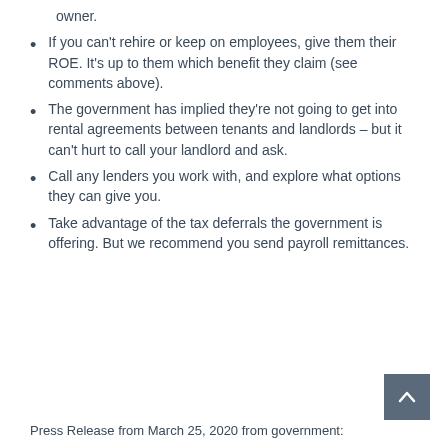employee of your own company to the business owner.
If you can't rehire or keep on employees, give them their ROE. It's up to them which benefit they claim (see comments above).
The government has implied they're not going to get into rental agreements between tenants and landlords – but it can't hurt to call your landlord and ask.
Call any lenders you work with, and explore what options they can give you.
Take advantage of the tax deferrals the government is offering. But we recommend you send payroll remittances.
Press Release from March 25, 2020 from government: